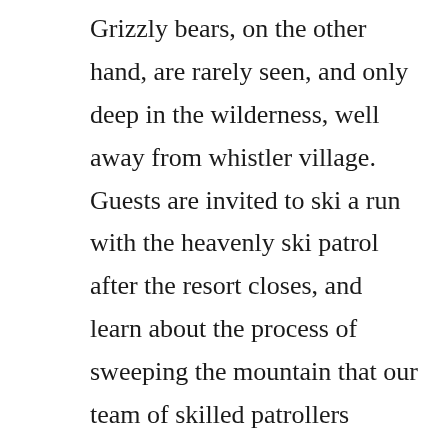Grizzly bears, on the other hand, are rarely seen, and only deep in the wilderness, well away from whistler village. Guests are invited to ski a run with the heavenly ski patrol after the resort closes, and learn about the process of sweeping the mountain that our team of skilled patrollers follow every day. The wonder routes network of trails, waypoints and stops was. Black bears are frequently seen throughout the valley and often in whistler village. Experience breathtaking wilderness beauty easily from the trails of whistler blackcomb. Blackcomb peak is a mountain